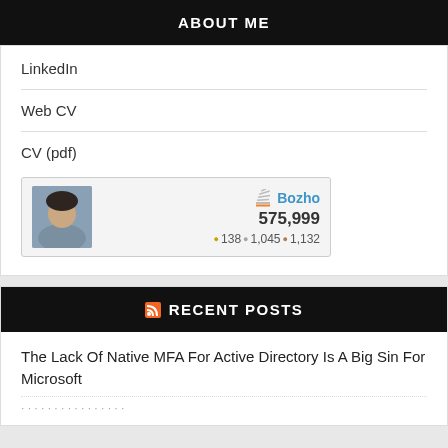ABOUT ME
LinkedIn
Web CV
CV (pdf)
[Figure (other): Stack Overflow user card for 'Bozho' showing reputation 575,999 and badges: 138 gold, 1,045 silver, 1,132 bronze]
RECENT POSTS
The Lack Of Native MFA For Active Directory Is A Big Sin For Microsoft